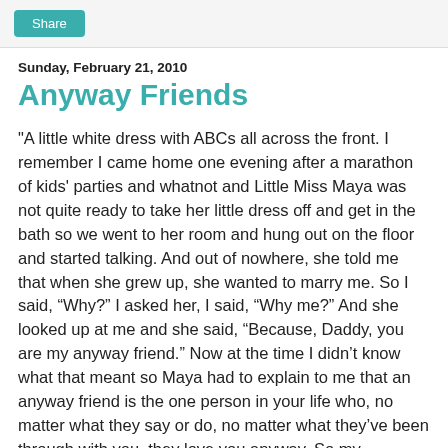Share
Sunday, February 21, 2010
Anyway Friends
"A little white dress with ABCs all across the front. I remember I came home one evening after a marathon of kids' parties and whatnot and Little Miss Maya was not quite ready to take her little dress off and get in the bath so we went to her room and hung out on the floor and started talking. And out of nowhere, she told me that when she grew up, she wanted to marry me. So I said, “Why?” I asked her, I said, “Why me?” And she looked up at me and she said, “Because, Daddy, you are my anyway friend.” Now at the time I didn’t know what that meant so Maya had to explain to me that an anyway friend is the one person in your life who, no matter what they say or do, no matter what they’ve been through with you, they love you anyway. So my sincerest hope is that for Maya, Dink, and for Dink, Maya, is that anyway friend. Because no matter how old you are or what your responsibilities if you love another, the condition...